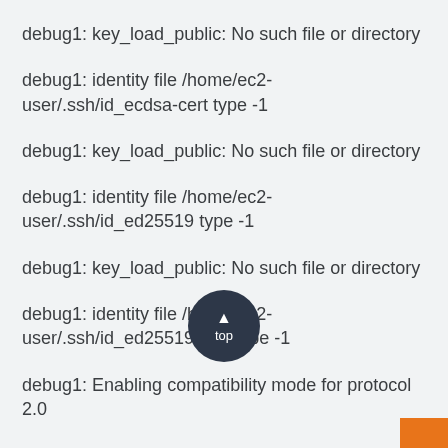debug1: key_load_public: No such file or directory
debug1: identity file /home/ec2-user/.ssh/id_ecdsa-cert type -1
debug1: key_load_public: No such file or directory
debug1: identity file /home/ec2-user/.ssh/id_ed25519 type -1
debug1: key_load_public: No such file or directory
debug1: identity file /home/ec2-user/.ssh/id_ed25519-cert type -1
debug1: Enabling compatibility mode for protocol 2.0
debug1: Local ver[top]ing SSH-2.0-OpenSSH_7.4
debug1: Remote protocol version 2.0, remote